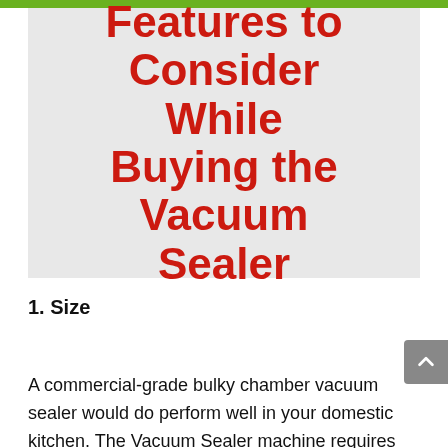[Figure (illustration): Grey banner image with bold red text reading 'Important Features to Consider While Buying the Vacuum Sealer' on a light grey background with a green bar at the top]
1. Size
A commercial-grade bulky chamber vacuum sealer would do perform well in your domestic kitchen. The Vacuum Sealer machine requires enough space to sit well around them and prevent it from over-heating. A smaller sealer can work for the domestic